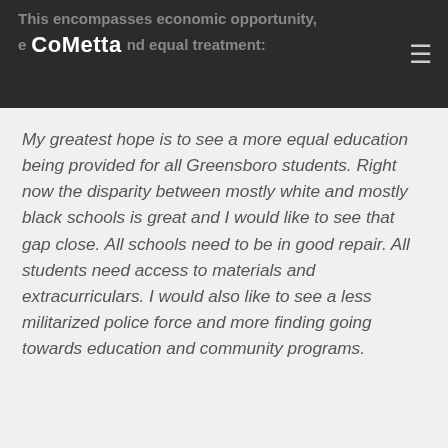This encompasses economic opportunity, equality and equal treatment:
CoMetta
My greatest hope is to see a more equal education being provided for all Greensboro students. Right now the disparity between mostly white and mostly black schools is great and I would like to see that gap close. All schools need to be in good repair. All students need access to materials and extracurriculars. I would also like to see a less militarized police force and more finding going towards education and community programs.